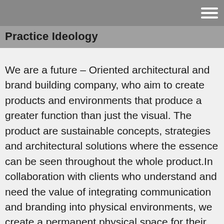Practice Ideology
We are a future – Oriented architectural and brand building company, who aim to create products and environments that produce a greater function than just the visual. The product are sustainable concepts, strategies and architectural solutions where the essence can be seen throughout the whole product.In collaboration with clients who understand and need the value of integrating communication and branding into physical environments, we create a permanent physical space for their concept, beyond traditional marketing and architecture. Our solutions are achieved with a multi-disciplinary approach throughout the entire process, where SR-K, our client and our partner's knowledge and experiences is key.After several years in the architect and building industry we have purchased the knowledge that range from early stage via...